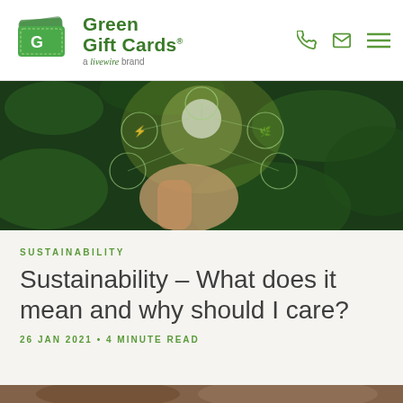[Figure (logo): Green Gift Cards logo with stacked green gift card icon and green text 'Green Gift Cards, a livewire brand']
[Figure (photo): Hand holding a glowing light bulb with sustainability/eco icons overlaid on a green plant background]
SUSTAINABILITY
Sustainability – What does it mean and why should I care?
26 JAN 2021 • 4 MINUTE READ
[Figure (photo): Partial view of a second image at the bottom of the page, cropped]